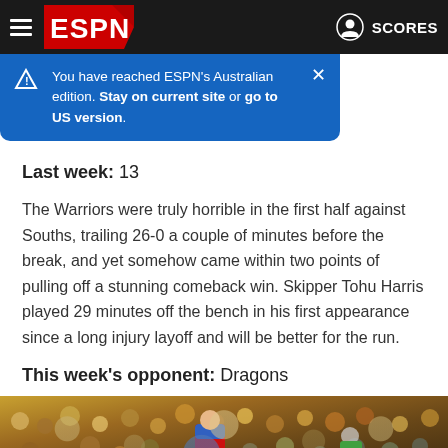ESPN — SCORES
You have reached ESPN's Australian edition. Stay on current site or go to US version.
Last week: 13
The Warriors were truly horrible in the first half against Souths, trailing 26-0 a couple of minutes before the break, and yet somehow came within two points of pulling off a stunning comeback win. Skipper Tohu Harris played 29 minutes off the bench in his first appearance since a long injury layoff and will be better for the run.
This week's opponent: Dragons
[Figure (photo): Crowd photo from a rugby league match, with a player visible in a red and blue jersey in the foreground]